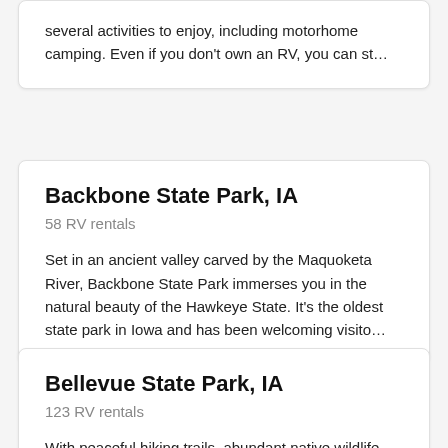several activities to enjoy, including motorhome camping. Even if you don't own an RV, you can st...
Backbone State Park, IA
58 RV rentals
Set in an ancient valley carved by the Maquoketa River, Backbone State Park immerses you in the natural beauty of the Hawkeye State. It's the oldest state park in Iowa and has been welcoming visito...
Bellevue State Park, IA
123 RV rentals
With peaceful hiking trails, abundant native wildlife